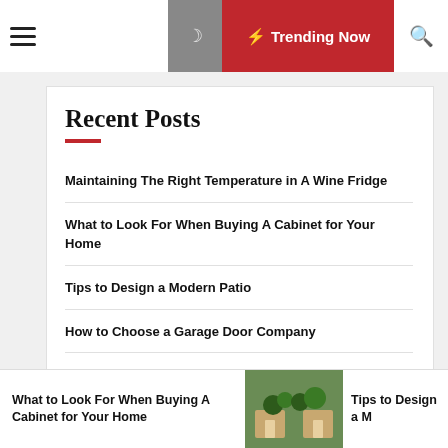☰  🌙  ⚡ Trending Now  🔍
Recent Posts
Maintaining The Right Temperature in A Wine Fridge
What to Look For When Buying A Cabinet for Your Home
Tips to Design a Modern Patio
How to Choose a Garage Door Company
Remodeling TipsforYour House
What to Look For When Buying A Cabinet for Your Home   Tips to Design a M